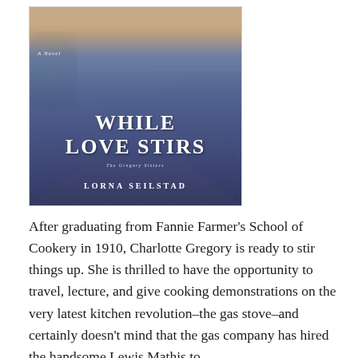[Figure (illustration): Book cover of 'While Love Stirs' by Lorna Seilstad. Shows a young woman in a blue dress with a beaded necklace, set against an outdoor background with trees and a path. Text on cover reads 'A Novel', 'While Love Stirs', 'The Gregory Sisters', 'Lorna Seilstad'.]
After graduating from Fannie Farmer's School of Cookery in 1910, Charlotte Gregory is ready to stir things up. She is thrilled to have the opportunity to travel, lecture, and give cooking demonstrations on the very latest kitchen revolution–the gas stove–and certainly doesn't mind that the gas company has hired the handsome Lewis Mathis to